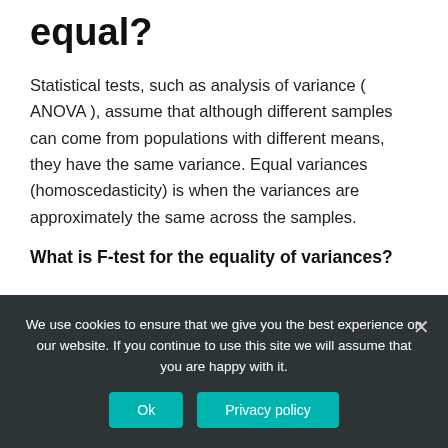equal?
Statistical tests, such as analysis of variance ( ANOVA ), assume that although different samples can come from populations with different means, they have the same variance. Equal variances (homoscedasticity) is when the variances are approximately the same across the samples.
What is F-test for the equality of variances?
We use cookies to ensure that we give you the best experience on our website. If you continue to use this site we will assume that you are happy with it.